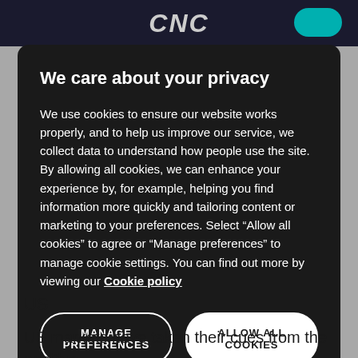We care about your privacy
We use cookies to ensure our website works properly, and to help us improve our service, we collect data to understand how people use the site. By allowing all cookies, we can enhance your experience by, for example, helping you find information more quickly and tailoring content or marketing to your preferences. Select “Allow all cookies” to agree or “Manage preferences” to manage cookie settings. You can find out more by viewing our Cookie policy
MANAGE PREFERENCES
ALLOW ALL COOKIES
US
US markets have taken their cues from the positive